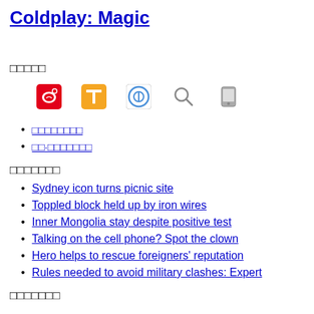Coldplay: Magic
□□□□□
[Figure (infographic): Row of five social/app icons: Weibo (red), a yellow T icon, a blue P circle icon, a magnifier icon, and a gray phone/device icon]
□□□□□□□□
□□·□□□□□□□
□□□□□□□
Sydney icon turns picnic site
Toppled block held up by iron wires
Inner Mongolia stay despite positive test
Talking on the cell phone? Spot the clown
Hero helps to rescue foreigners' reputation
Rules needed to avoid military clashes: Expert
□□□□□□□